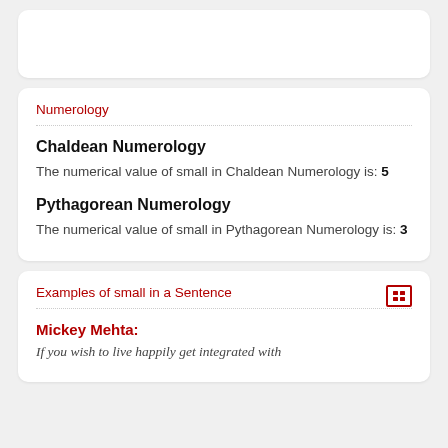Numerology
Chaldean Numerology
The numerical value of small in Chaldean Numerology is: 5
Pythagorean Numerology
The numerical value of small in Pythagorean Numerology is: 3
Examples of small in a Sentence
Mickey Mehta:
If you wish to live happily get integrated with